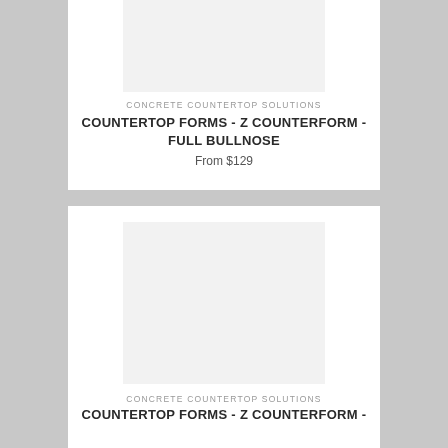[Figure (other): Product image placeholder (light gray rectangle) for Z Counterform Full Bullnose product]
CONCRETE COUNTERTOP SOLUTIONS
COUNTERTOP FORMS - Z COUNTERFORM - FULL BULLNOSE
From $129
[Figure (other): Product image placeholder (light gray rectangle) for second Z Counterform product]
CONCRETE COUNTERTOP SOLUTIONS
COUNTERTOP FORMS - Z COUNTERFORM -